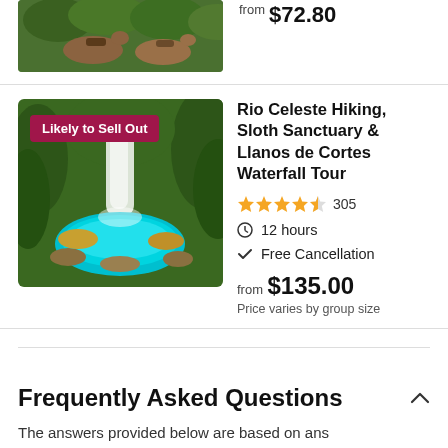[Figure (photo): Partial view of horses with brown coats against green foliage background]
from $72.80
[Figure (photo): Rio Celeste waterfall with turquoise water surrounded by lush green vegetation. Badge reads 'Likely to Sell Out'.]
Rio Celeste Hiking, Sloth Sanctuary & Llanos de Cortes Waterfall Tour
★★★★½ 305
12 hours
Free Cancellation
from $135.00
Price varies by group size
Frequently Asked Questions
The answers provided below are based on answers previously given by the tour provider to customers'